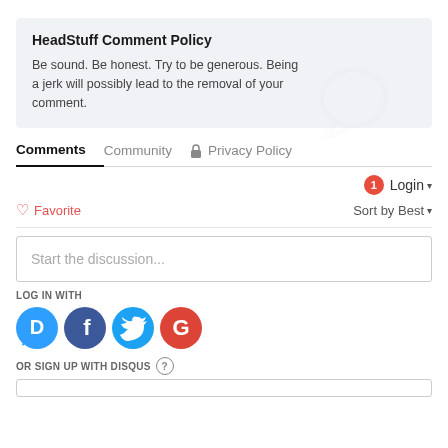HeadStuff Comment Policy
Be sound. Be honest. Try to be generous. Being a jerk will possibly lead to the removal of your comment.
Comments   Community   Privacy Policy
1  Login
Favorite   Sort by Best
Start the discussion...
LOG IN WITH
[Figure (infographic): Social login icons: Disqus (blue), Facebook (dark blue), Twitter (light blue), Google (red)]
OR SIGN UP WITH DISQUS ?
Name input field (empty)